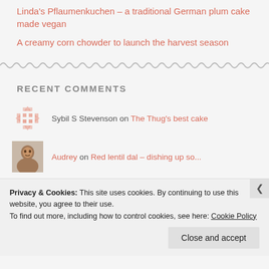Linda's Pflaumenkuchen – a traditional German plum cake made vegan
A creamy corn chowder to launch the harvest season
RECENT COMMENTS
Sybil S Stevenson on The Thug's best cake
Audrey on Red lentil dal – dishing up so...
Privacy & Cookies: This site uses cookies. By continuing to use this website, you agree to their use.
To find out more, including how to control cookies, see here: Cookie Policy
Close and accept